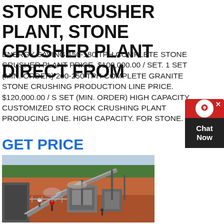STONE CRUSHER PLANT, STONE CRUSHER PLANT DIRECT FROM
ENERGY SAVING 150-180 TPH COMPLETE STONE CRUSHER PLANT PRICE. $100,000.00 / SET. 1 SET (MIN. ORDER) 200-250 TPH COMPLETE GRANITE STONE CRUSHING PRODUCTION LINE PRICE. $120,000.00 / S SET (MIN. ORDER) HIGH CAPACITY CUSTOMIZED STO ROCK CRUSHING PLANT PRODUCING LINE. HIGH CAPACITY. FOR STONE.
GET PRICE
[Figure (photo): Aerial view of a stone crusher plant facility with conveyor belts, machinery, and workers on a red dirt open-air site with trees in the background]